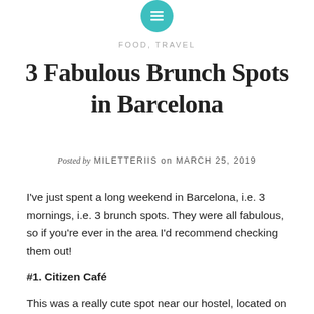[Figure (logo): Teal circular icon with menu/list lines symbol at top center of page]
FOOD, TRAVEL
3 Fabulous Brunch Spots in Barcelona
Posted by MILETTERIIS on MARCH 25, 2019
I've just spent a long weekend in Barcelona, i.e. 3 mornings, i.e. 3 brunch spots. They were all fabulous, so if you're ever in the area I'd recommend checking them out!
#1. Citizen Café
This was a really cute spot near our hostel, located on